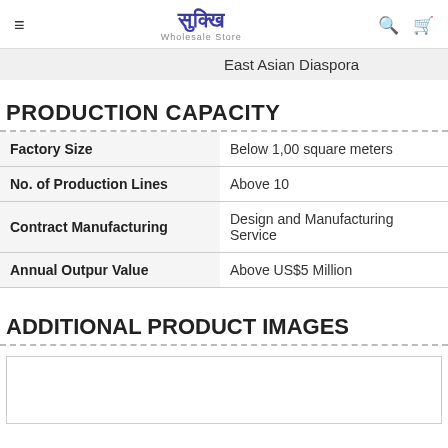Sukkhi Wholesale Store — navigation header with logo, search, and cart icons
East Asian Diaspora
PRODUCTION CAPACITY
|  |  |
| --- | --- |
| Factory Size | Below 1,00 square meters |
| No. of Production Lines | Above 10 |
| Contract Manufacturing | Design and Manufacturing Service |
| Annual Outpur Value | Above US$5 Million |
ADDITIONAL PRODUCT IMAGES
[Figure (photo): Empty image placeholder box]